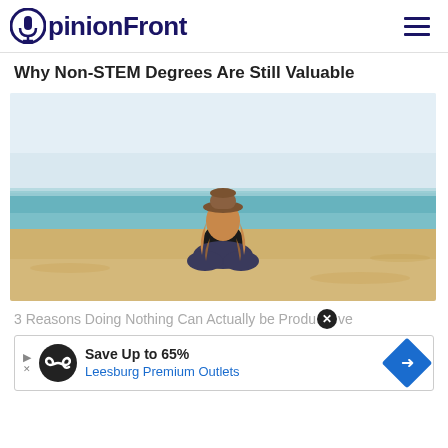OpinionFront
Why Non-STEM Degrees Are Still Valuable
[Figure (photo): Woman with hat sitting cross-legged on a beach facing the ocean, viewed from behind. Sandy beach, blue-green water, pale sky.]
3 Reasons Doing Nothing Can Actually be Productive
[Figure (infographic): Advertisement banner: Save Up to 65% - Leesburg Premium Outlets, with infinity logo and blue arrow icon]